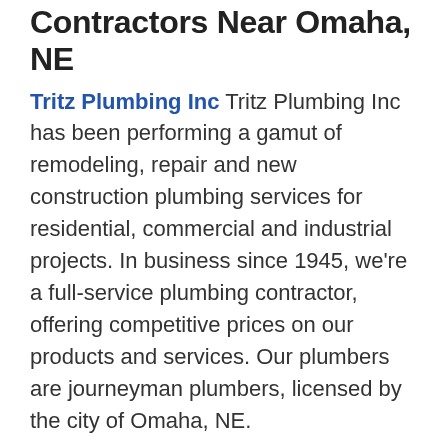Contractors Near Omaha, NE
Tritz Plumbing Inc Tritz Plumbing Inc has been performing a gamut of remodeling, repair and new construction plumbing services for residential, commercial and industrial projects. In business since 1945, we're a full-service plumbing contractor, offering competitive prices on our products and services. Our plumbers are journeyman plumbers, licensed by the city of Omaha, NE.
Backlund Plumbing Family owned full service plumbing and drain cleaning services. We also do pumping and Sewer and Water line installations.